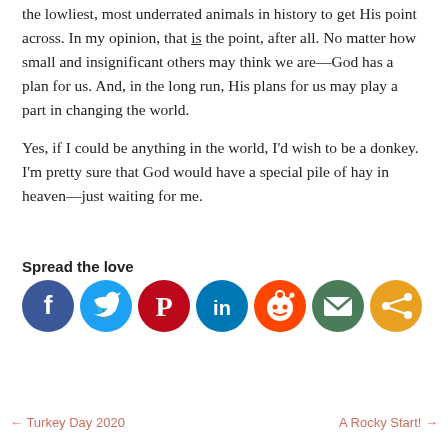the lowliest, most underrated animals in history to get His point across.  In my opinion, that is the point, after all.  No matter how small and insignificant others may think we are—God has a plan for us.  And, in the long run, His plans for us may play a part in changing the world.
Yes, if I could be anything in the world, I'd wish to be a donkey.  I'm pretty sure that God would have a special pile of hay in heaven—just waiting for me.
Spread the love
[Figure (infographic): Row of seven social media share icons: Facebook (blue), Twitter (light blue), Pinterest (red), LinkedIn (blue), Reddit (orange), Email (green), Share (orange)]
← Turkey Day 2020    A Rocky Start! →